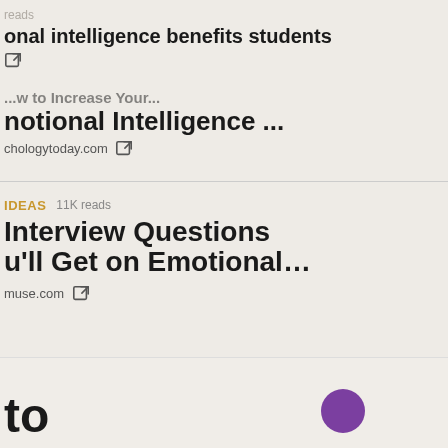reads
onal intelligence benefits students
[external link icon]
...w to Increase Your Emotional Intelligence ...
chologytoday.com
IDEAS  11K reads
Interview Questions u'll Get on Emotional…
muse.com
to